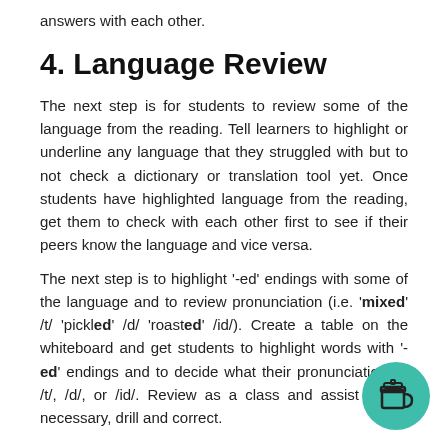answers with each other.
4. Language Review
The next step is for students to review some of the language from the reading. Tell learners to highlight or underline any language that they struggled with but to not check a dictionary or translation tool yet. Once students have highlighted language from the reading, get them to check with each other first to see if their peers know the language and vice versa.
The next step is to highlight '-ed' endings with some of the language and to review pronunciation (i.e. 'mixed' /t/ 'pickled' /d/ 'roasted' /id/). Create a table on the whiteboard and get students to highlight words with '-ed' endings and to decide what their pronunciation is: /t/, /d/, or /id/. Review as a class and assist where necessary, drill and correct.
[Figure (illustration): Teal circular button with a coffee cup icon, positioned in the bottom-right corner of the page.]